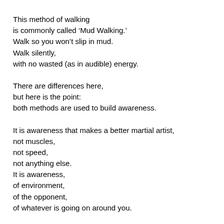This method of walking
is commonly called ‘Mud Walking.’
Walk so you won’t slip in mud.
Walk silently,
with no wasted (as in audible) energy.
There are differences here,
but here is the point:
both methods are used to build awareness.
It is awareness that makes a better martial artist,
not muscles,
not speed,
not anything else.
It is awareness,
of environment,
of the opponent,
of whatever is going on around you.